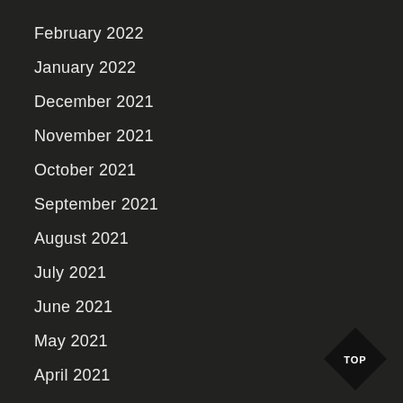February 2022
January 2022
December 2021
November 2021
October 2021
September 2021
August 2021
July 2021
June 2021
May 2021
April 2021
March 2021
February 2021
[Figure (illustration): Black diamond shape with white text TOP inside, positioned bottom-right corner]